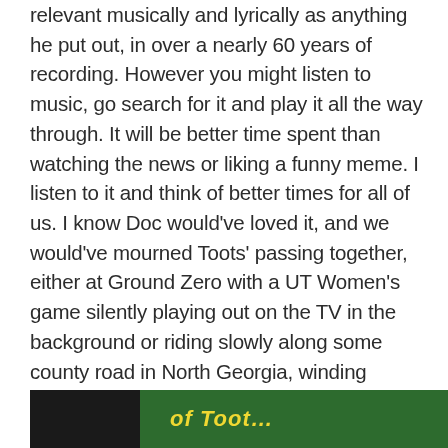relevant musically and lyrically as anything he put out, in over a nearly 60 years of recording. However you might listen to music, go search for it and play it all the way through. It will be better time spent than watching the news or liking a funny meme. I listen to it and think of better times for all of us. I know Doc would've loved it, and we would've mourned Toots' passing together, either at Ground Zero with a UT Women's game silently playing out on the TV in the background or riding slowly along some county road in North Georgia, winding through the early morning gloaming, Doc beating rhythm on the steering wheel of the 'Ho, saying "damn, Toots". Time is growing short for us all. I just wish Doc and Toots had gotten a little more of it. Doesn't seem like much to ask, looking back.
[Figure (photo): Bottom strip showing green background with yellow italic handwritten-style text partially visible, and a dark section on the left.]